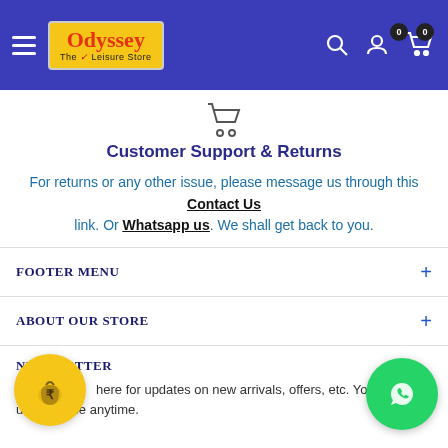[Figure (logo): Odyssey - The Leisure Store logo on yellow background, with hamburger menu and header icons on blue background]
[Figure (illustration): Shopping cart icon]
Customer Support & Returns
For returns or any other issue, please message us through this Contact Us link. Or Whatsapp us. We shall get back to you.
FOOTER MENU
ABOUT OUR STORE
NEWSLETTER
here for updates on new arrivals, offers, etc. You can unsubscribe anytime.
[Figure (illustration): Yellow circular button with money bag / rupee icon]
[Figure (illustration): Green circular WhatsApp button]